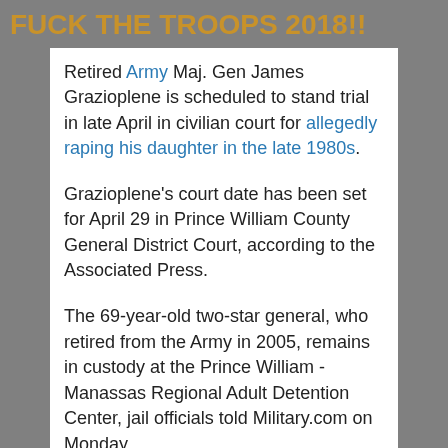FUCK THE TROOPS 2018!!
Retired Army Maj. Gen James Grazioplene is scheduled to stand trial in late April in civilian court for allegedly raping his daughter in the late 1980s.
Grazioplene's court date has been set for April 29 in Prince William County General District Court, according to the Associated Press.
The 69-year-old two-star general, who retired from the Army in 2005, remains in custody at the Prince William - Manassas Regional Adult Detention Center, jail officials told Military.com on Monday.
A Prince William County judge denied